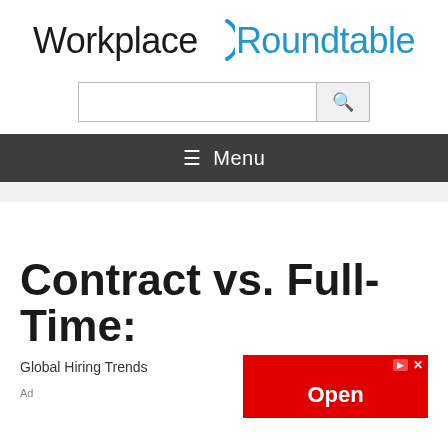Workplace Roundtable
[Figure (other): Search bar with magnifying glass icon]
≡ Menu
Contract vs. Full-Time:
Global Hiring Trends
[Figure (other): Red advertisement banner with Open button]
Ad